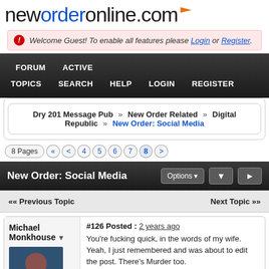neworderonline.com
Welcome Guest! To enable all features please Login or Register.
FORUM  ACTIVE TOPICS  SEARCH  HELP  LOGIN  REGISTER
Dry 201 Message Pub » New Order Related » Digital Republic » New Order: Social Media
8 Pages  «  <  4  5  6  7  8  >
New Order: Social Media
«« Previous Topic    Next Topic »»
#126 Posted : 2 years ago
You're fucking quick, in the words of my wife. Yeah, I just remembered and was about to edit the post. There's Murder too.
I like to think of TOTP as the Thieves vid. I also like to
Michael Monkhouse